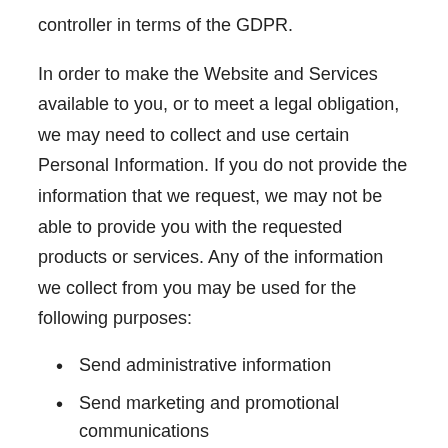controller in terms of the GDPR.
In order to make the Website and Services available to you, or to meet a legal obligation, we may need to collect and use certain Personal Information. If you do not provide the information that we request, we may not be able to provide you with the requested products or services. Any of the information we collect from you may be used for the following purposes:
Send administrative information
Send marketing and promotional communications
Respond to inquiries and offer support
Run and operate the Website and Services